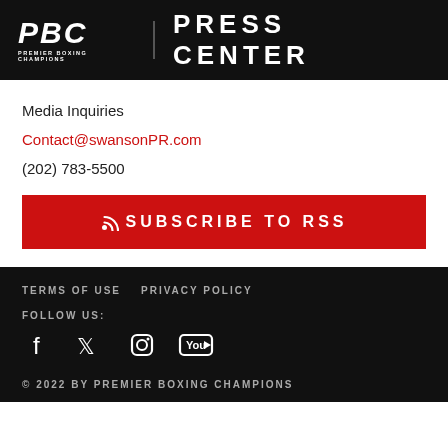PBC PREMIER BOXING CHAMPIONS — PRESS CENTER
Media Inquiries
Contact@swansonPR.com
(202) 783-5500
SUBSCRIBE TO RSS
TERMS OF USE   PRIVACY POLICY
FOLLOW US:
© 2022 BY PREMIER BOXING CHAMPIONS